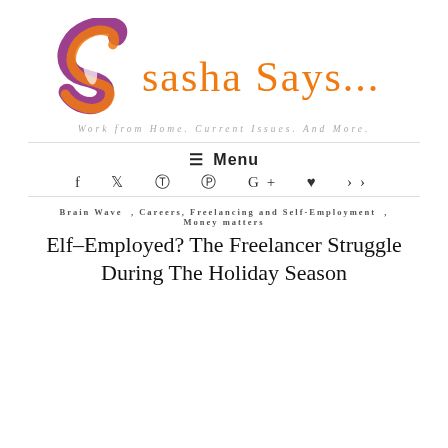[Figure (logo): Sasha Says logo with stylized purple and orange S and cursive orange text 'sasha Says...']
Work from Home. Current Issues. And More.
≡ Menu
f  ♥  ®  ⊙  G+  ♥  »
Brain Wave , Careers, Freelancing and Self-Employment , Money matters
Elf-Employed? The Freelancer Struggle During The Holiday Season